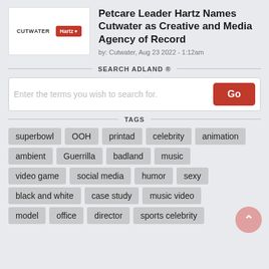[Figure (logo): Cutwater and Hartz logos side by side in a white box]
Petcare Leader Hartz Names Cutwater as Creative and Media Agency of Record
by: Cutwater, Aug 23 2022 - 1:12am
SEARCH ADLAND ®
Enter the terms you wish to search for.
TAGS
superbowl
OOH
printad
celebrity
animation
ambient
Guerrilla
badland
music
video game
social media
humor
sexy
black and white
case study
music video
model
office
director
sports celebrity